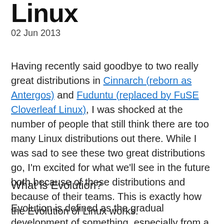Linux
02 Jun 2013
Having recently said goodbye to two really great distributions in Cinnarch (reborn as Antergos) and Fuduntu (replaced by FuSE Cloverleaf Linux), I was shocked at the number of people that still think there are too many Linux distributions out there. While I was sad to see these two great distributions go, I'm excited for what we'll see in the future both because of these distributions and because of their teams. This is exactly how the Evolution of Linux works.
What is Evolution?
Evolution is defined as the gradual development of something, especially from a simple to a more